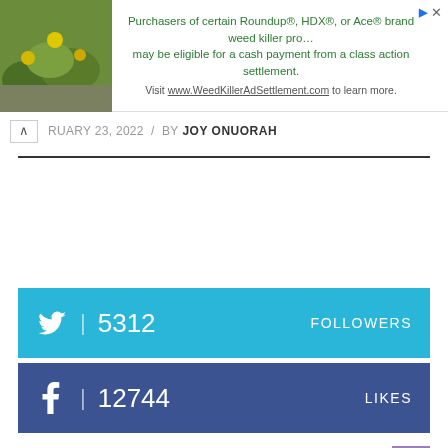[Figure (screenshot): Advertisement banner with plant image on left and text about Roundup weed killer class action settlement on right]
RUARY 23, 2022 / BY JOY ONUORAH
5312 FOLLOWERS (Twitter)
12744 LIKES (Facebook)